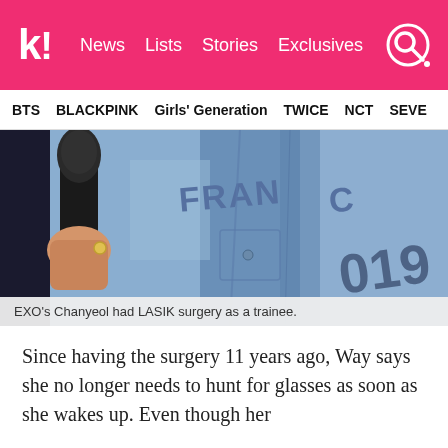k! News  Lists  Stories  Exclusives
BTS  BLACKPINK  Girls' Generation  TWICE  NCT  SEVE
[Figure (photo): Close-up photo of a person holding a microphone, wearing a denim jacket with 'FRANCE' written on the back and graffiti-style text]
EXO's Chanyeol had LASIK surgery as a trainee.
Since having the surgery 11 years ago, Way says she no longer needs to hunt for glasses as soon as she wakes up. Even though her